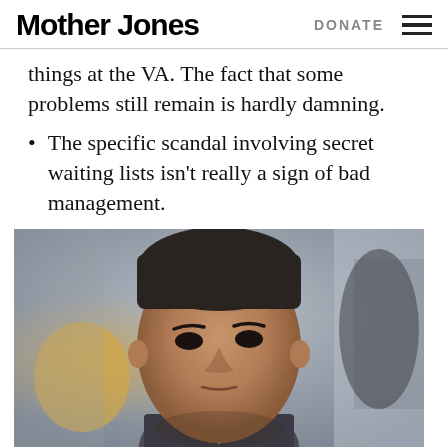Mother Jones | DONATE
things at the VA. The fact that some problems still remain is hardly damning.
The specific scandal involving secret waiting lists isn't really a sign of bad management.
[Figure (photo): Close-up photograph of a man with dark hair, looking upward slightly, wearing a suit. Background is blurred with yellow and grey tones.]